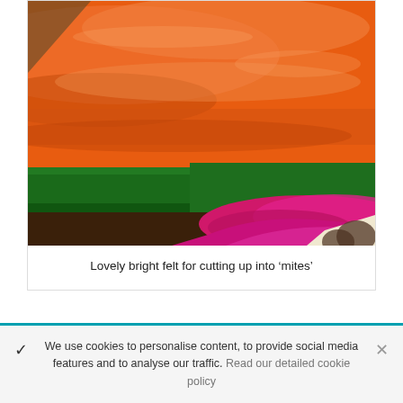[Figure (photo): Close-up photo of stacked folded felt fabric in bright colors: orange on top, green in the middle, pink/magenta below, with a partial cream/beige piece with dark print at the bottom right.]
Lovely bright felt for cutting up into ‘mites’
We use cookies to personalise content, to provide social media features and to analyse our traffic. Read our detailed cookie policy